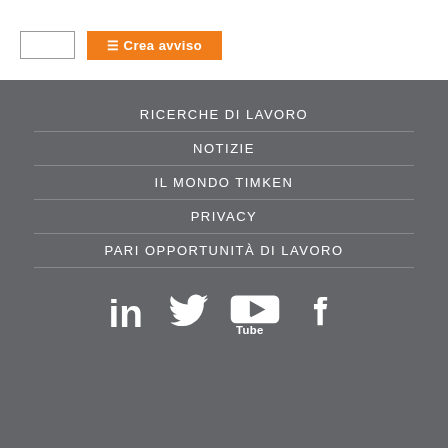[Figure (screenshot): Top white section with an input box and an orange button labeled 'Crea avviso']
RICERCHE DI LAVORO
NOTIZIE
IL MONDO TIMKEN
PRIVACY
PARI OPPORTUNITÀ DI LAVORO
[Figure (logo): Social media icons: LinkedIn, Twitter, YouTube, Facebook]